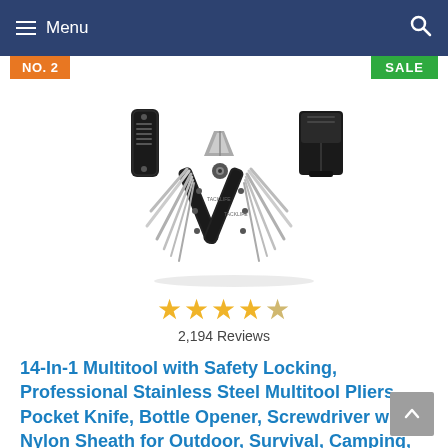Menu
NO. 2
SALE
[Figure (photo): A 14-in-1 multitool shown open with pliers extended and multiple tools fanned out, alongside a folded view and a black nylon carrying case/sheath]
2,194 Reviews
14-In-1 Multitool with Safety Locking, Professional Stainless Steel Multitool Pliers Pocket Knife, Bottle Opener, Screwdriver with Nylon Sheath for Outdoor, Survival, Camping, Hunting and